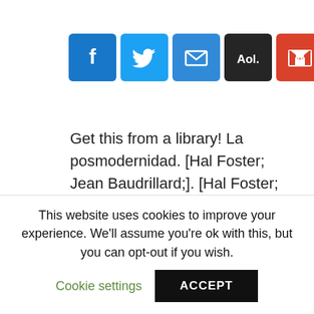[Figure (other): Social share buttons: Facebook, Twitter, Email, AOL, Gmail, Yahoo, More (+)]
Get this from a library! La posmodernidad. [Hal Foster; Jean Baudrillard;]. [Hal Foster; Jean Baudrillard;] — Lo primero que debemos preguntarnos es si existe la llamada Posmodernidad y, en caso afirmativo, cuál es su significado. Libro posmodernidad hal foster pdf. Posted by Cade Peterson on Jan 23, Community Manager, PlayStation Digital Platforms 0 system32 rdpcfgex. All.
This website uses cookies to improve your experience. We'll assume you're ok with this, but you can opt-out if you wish. Cookie settings ACCEPT